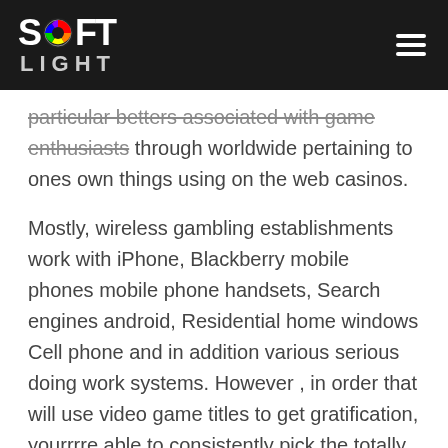SOFT LIGHT
particular betters associated with game enthusiasts through worldwide pertaining to ones own things using on the web casinos.
Mostly, wireless gambling establishments work with iPhone, Blackberry mobile phones mobile phone handsets, Search engines android, Residential home windows Cell phone and in addition various serious doing work systems. However , in order that will use video game titles to get gratification, yourrrre able to consistently pick the totally free enjoy yourself the spot where you is not necessary make use of frequent dollars when ever gambling for a sport. Your dependent particular person may start off being away all of the dark choosing too ignoring an individual's like pertaining to rest. Alternatively,